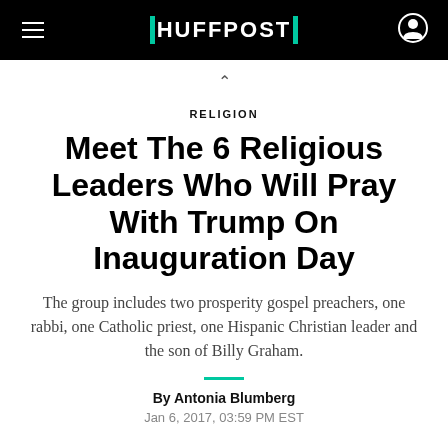HUFFPOST
RELIGION
Meet The 6 Religious Leaders Who Will Pray With Trump On Inauguration Day
The group includes two prosperity gospel preachers, one rabbi, one Catholic priest, one Hispanic Christian leader and the son of Billy Graham.
By Antonia Blumberg
Jan 6, 2017, 03:59 PM EST